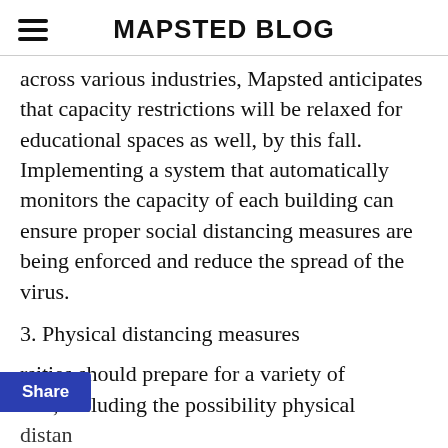MAPSTED BLOG
across various industries, Mapsted anticipates that capacity restrictions will be relaxed for educational spaces as well, by this fall. Implementing a system that automatically monitors the capacity of each building can ensure proper social distancing measures are being enforced and reduce the spread of the virus.
3. Physical distancing measures
rsities should prepare for a variety of rios, including the possibility physical distancing measures longer be required indoors